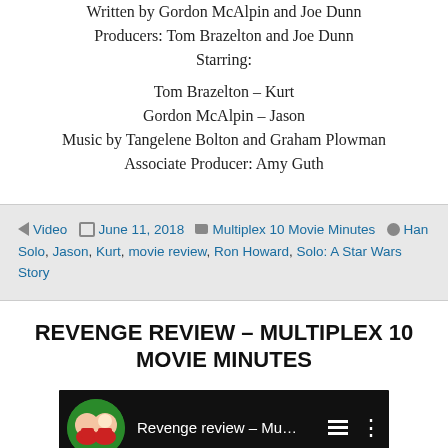Written by Gordon McAlpin and Joe Dunn
Producers: Tom Brazelton and Joe Dunn
Starring:
Tom Brazelton – Kurt
Gordon McAlpin – Jason
Music by Tangelene Bolton and Graham Plowman
Associate Producer: Amy Guth
Video  June 11, 2018  Multiplex 10 Movie Minutes  Han Solo, Jason, Kurt, movie review, Ron Howard, Solo: A Star Wars Story
REVENGE REVIEW – MULTIPLEX 10 MOVIE MINUTES
[Figure (screenshot): Video thumbnail showing 'Revenge review – Mu...' with avatar and playlist/menu icons on black background]